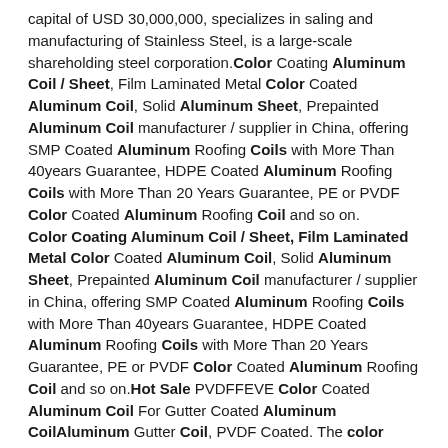capital of USD 30,000,000, specializes in saling and manufacturing of Stainless Steel, is a large-scale shareholding steel corporation. Color Coating Aluminum Coil / Sheet, Film Laminated Metal Color Coated Aluminum Coil, Solid Aluminum Sheet, Prepainted Aluminum Coil manufacturer / supplier in China, offering SMP Coated Aluminum Roofing Coils with More Than 40years Guarantee, HDPE Coated Aluminum Roofing Coils with More Than 20 Years Guarantee, PE or PVDF Color Coated Aluminum Roofing Coil and so on. Color Coating Aluminum Coil / Sheet, Film Laminated Metal Color Coated Aluminum Coil, Solid Aluminum Sheet, Prepainted Aluminum Coil manufacturer / supplier in China, offering SMP Coated Aluminum Roofing Coils with More Than 40years Guarantee, HDPE Coated Aluminum Roofing Coils with More Than 20 Years Guarantee, PE or PVDF Color Coated Aluminum Roofing Coil and so on. Hot Sale PVDFFEVE Color Coated Aluminum Coil For Gutter Coated Aluminum CoilAluminum Gutter Coil, PVDF Coated. The color coated aluminum coil can be cut into sheets in any size. Features of Color Coated Aluminum Coil The color coated aluminum coil uses 3004 Al-